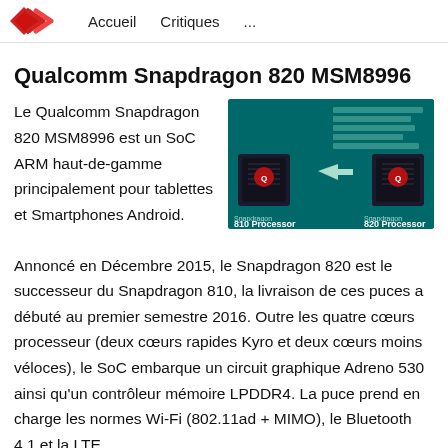Accueil   Critiques   ...
Qualcomm Snapdragon 820 MSM8996
[Figure (photo): Qualcomm Snapdragon 810 vs 820 Processor comparison infographic on teal background]
Le Qualcomm Snapdragon 820 MSM8996 est un SoC ARM haut-de-gamme principalement pour tablettes et Smartphones Android. Annoncé en Décembre 2015, le Snapdragon 820 est le successeur du Snapdragon 810, la livraison de ces puces a débuté au premier semestre 2016. Outre les quatre cœurs processeur (deux cœurs rapides Kyro et deux cœurs moins véloces), le SoC embarque un circuit graphique Adreno 530 ainsi qu'un contrôleur mémoire LPDDR4. La puce prend en charge les normes Wi-Fi (802.11ad + MIMO), le Bluetooth 4.1 et la LTE.